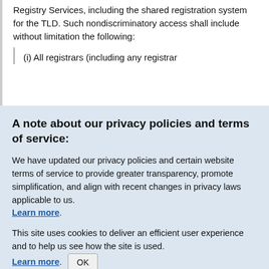Registry Services, including the shared registration system for the TLD. Such nondiscriminatory access shall include without limitation the following:
(i) All registrars (including any registrar
A note about our privacy policies and terms of service:
We have updated our privacy policies and certain website terms of service to provide greater transparency, promote simplification, and align with recent changes in privacy laws applicable to us. Learn more.
This site uses cookies to deliver an efficient user experience and to help us see how the site is used. Learn more. OK